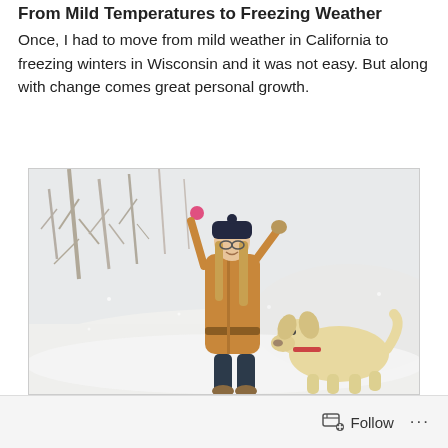From Mild Temperatures to Freezing Weather
Once, I had to move from mild weather in California to freezing winters in Wisconsin and it was not easy. But along with change comes great personal growth.
[Figure (photo): A woman in a tan winter coat, black knit hat, glasses, and dark jeans holding a pink ball in the air while a golden/cream colored dog stands nearby, both in a snowy landscape with bare trees in the background.]
Follow ...